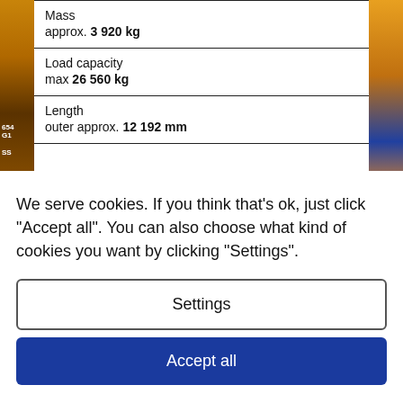Mass
approx. 3 920 kg
Load capacity
max 26 560 kg
Length
outer approx. 12 192 mm
We serve cookies. If you think that's ok, just click "Accept all". You can also choose what kind of cookies you want by clicking "Settings".
Settings
Accept all